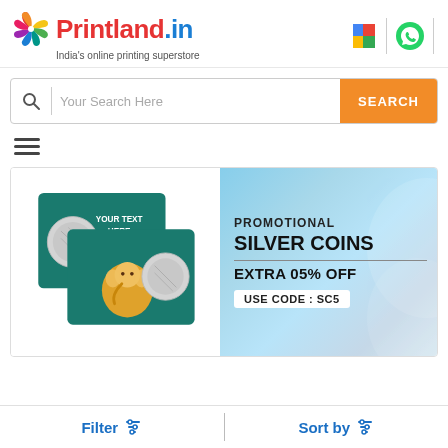[Figure (logo): Printland.in logo with colorful pinwheel icon and tagline 'India's online printing superstore']
[Figure (screenshot): Search bar with magnifying glass icon, placeholder 'Your Search Here', and orange SEARCH button]
[Figure (infographic): Hamburger menu icon (three horizontal lines)]
[Figure (infographic): Promotional banner for silver coins with coin images on left and text 'PROMOTIONAL SILVER COINS EXTRA 05% OFF USE CODE: SC5' on blue gradient background]
[Figure (infographic): Filter and Sort by toolbar at bottom with filter icon buttons in blue text]